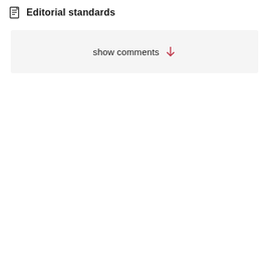Editorial standards
show comments ↓